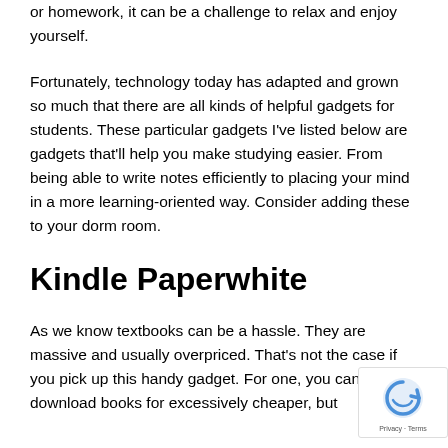or homework, it can be a challenge to relax and enjoy yourself.
Fortunately, technology today has adapted and grown so much that there are all kinds of helpful gadgets for students. These particular gadgets I've listed below are gadgets that'll help you make studying easier. From being able to write notes efficiently to placing your mind in a more learning-oriented way. Consider adding these to your dorm room.
Kindle Paperwhite
As we know textbooks can be a hassle. They are massive and usually overpriced. That's not the case if you pick up this handy gadget. For one, you can likely download books for excessively cheaper, but